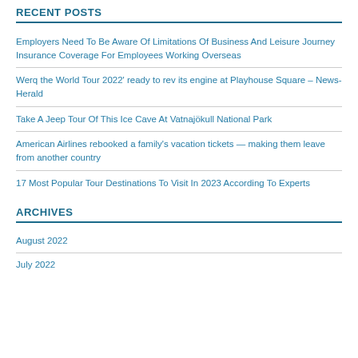RECENT POSTS
Employers Need To Be Aware Of Limitations Of Business And Leisure Journey Insurance Coverage For Employees Working Overseas
Werq the World Tour 2022' ready to rev its engine at Playhouse Square – News-Herald
Take A Jeep Tour Of This Ice Cave At Vatnajökull National Park
American Airlines rebooked a family's vacation tickets — making them leave from another country
17 Most Popular Tour Destinations To Visit In 2023 According To Experts
ARCHIVES
August 2022
July 2022